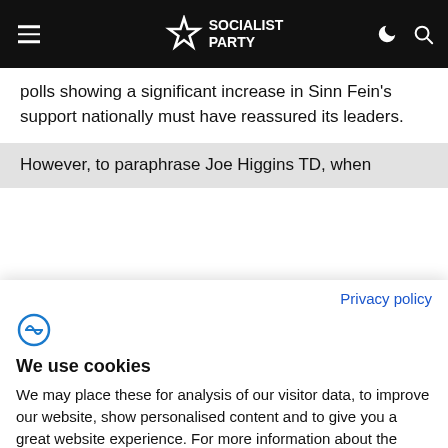Socialist Party
polls showing a significant increase in Sinn Fein's support nationally must have reassured its leaders.
However, to paraphrase Joe Higgins TD, when
Privacy policy
We use cookies
We may place these for analysis of our visitor data, to improve our website, show personalised content and to give you a great website experience. For more information about the cookies we use open the settings.
Accept all
Deny
No, adjust